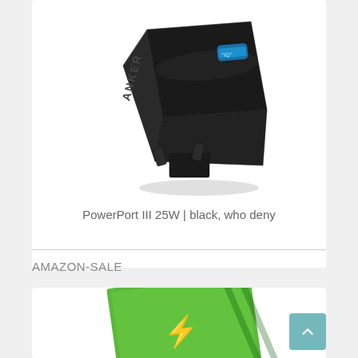[Figure (photo): Anker PowerPort III 25W black USB-C wall charger with UK plug, showing blue-lit USB-C port and IQ logo on top face]
PowerPort III 25W | black, who deny
AMAZON-SALE
[Figure (photo): Partial view of a green product box, partially visible at bottom of page]